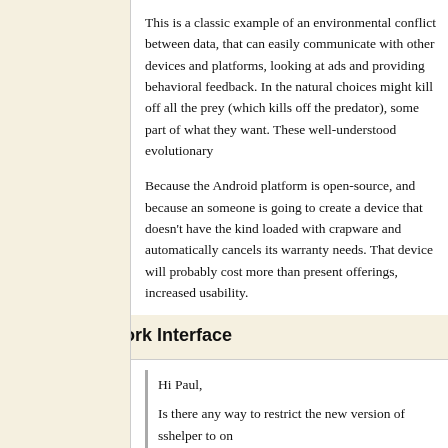This is a classic example of an environmental conflict between data, that can easily communicate with other devices and platforms, looking at ads and providing behavioral feedback. In the nature, choices might kill off all the prey (which kills off the predator), some part of what they want. These well-understood evolutio...
Because the Android platform is open-source, and because someone is going to create a device that doesn't have the kind loaded with crapware and automatically cancels its warranty needs. That device will probably cost more than present offerings, increased usability.
I won't hold my breath.
Choose Network Interface
Hi Paul,

Is there any way to restrict the new version of sshelper to on...
Yes, there is — if necessary, disable other network interfaces, configuration to choose a specific network interface, but currently this way. What Android does is allow the device's user to cho...
If you have multiple interfaces and the wrong interface is cho... but this is not usually necessary. If for example you have a...